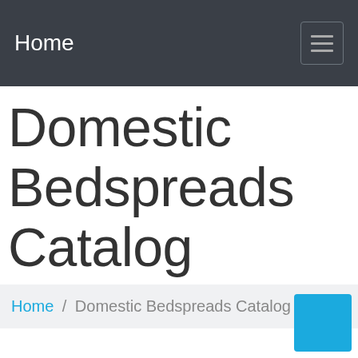Home
Domestic Bedspreads Catalog
Home / Domestic Bedspreads Catalog